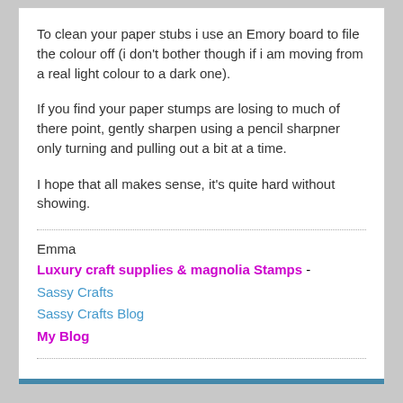To clean your paper stubs i use an Emory board to file the colour off (i don't bother though if i am moving from a real light colour to a dark one).
If you find your paper stumps are losing to much of there point, gently sharpen using a pencil sharpner only turning and pulling out a bit at a time.
I hope that all makes sense, it's quite hard without showing.
Emma
Luxury craft supplies & magnolia Stamps - Sassy Crafts
Sassy Crafts Blog
My Blog